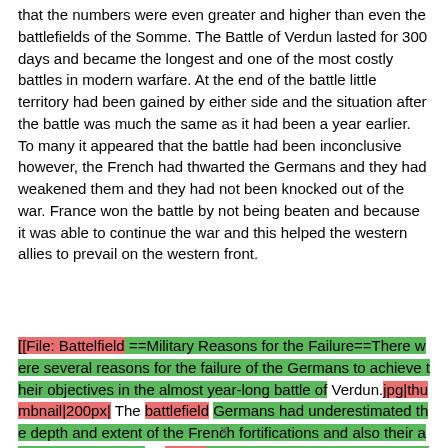that the numbers were even greater and higher than even the battlefields of the Somme. The Battle of Verdun lasted for 300 days and became the longest and one of the most costly battles in modern warfare. At the end of the battle little territory had been gained by either side and the situation after the battle was much the same as it had been a year earlier. To many it appeared that the battle had been inconclusive however, the French had thwarted the Germans and they had weakened them and they had not been knocked out of the war. France won the battle by not being beaten and because it was able to continue the war and this helped the western allies to prevail on the western front.
[[File: Battelfield ==Military Reasons for the Failure==There were several reasons for the failure of the Germans to achieve their objectives in the almost year-long battle of Verdun.jpg|thumbnail|200px| The battlefield Germans had underestimated the depth and extent of the French fortifications and also their ability to repair them in 2005]]lulls during the battle. The French
x